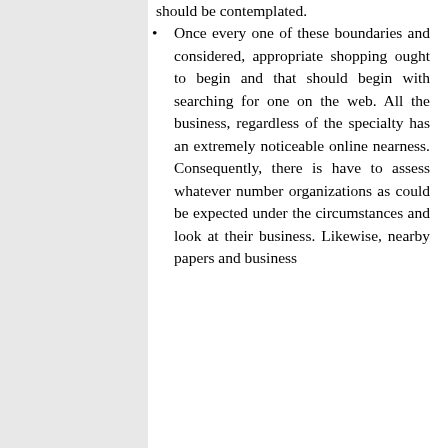should be contemplated.
Once every one of these boundaries and considered, appropriate shopping ought to begin and that should begin with searching for one on the web. All the business, regardless of the specialty has an extremely noticeable online nearness. Consequently, there is have to assess whatever number organizations as could be expected under the circumstances and look at their business. Likewise, nearby papers and business